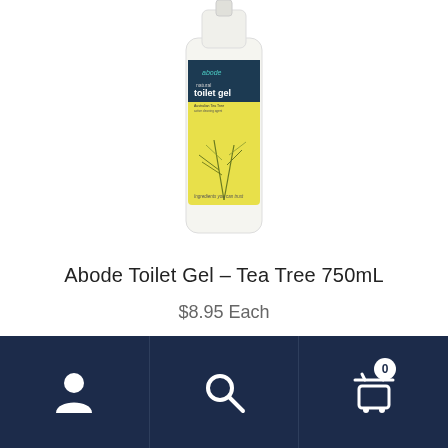[Figure (photo): Abode natural toilet gel bottle with tea tree label, white bottle with yellow label and plant illustration]
Abode Toilet Gel – Tea Tree 750mL
$8.95 Each
Read more
Navigation footer with user account icon, search icon, and shopping cart icon with badge showing 0